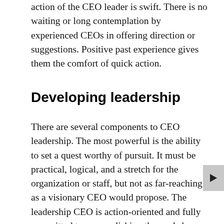action of the CEO leader is swift. There is no waiting or long contemplation by experienced CEOs in offering direction or suggestions. Positive past experience gives them the comfort of quick action.
Developing leadership
There are several components to CEO leadership. The most powerful is the ability to set a quest worthy of pursuit. It must be practical, logical, and a stretch for the organization or staff, but not as far-reaching as a visionary CEO would propose. The leadership CEO is action-oriented and fully committed to accomplishing the goals by involving and